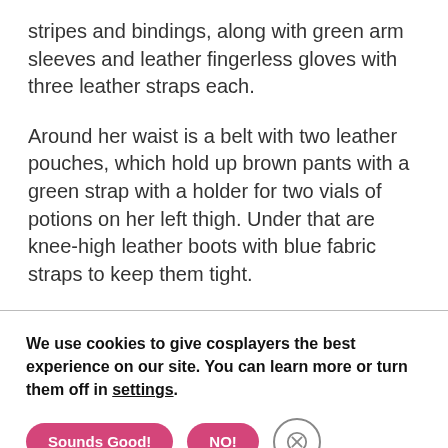stripes and bindings, along with green arm sleeves and leather fingerless gloves with three leather straps each.
Around her waist is a belt with two leather pouches, which hold up brown pants with a green strap with a holder for two vials of potions on her left thigh. Under that are knee-high leather boots with blue fabric straps to keep them tight.
We use cookies to give cosplayers the best experience on our site. You can learn more or turn them off in settings.